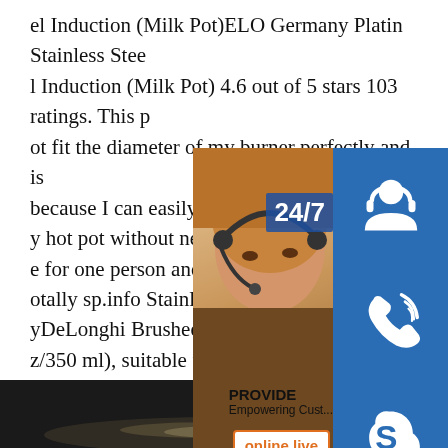el Induction (Milk Pot)ELO Germany Platin Stainless Steel Induction (Milk Pot) 4.6 out of 5 stars 103 ratings. This pot fit the diameter of my burner perfectly and is because I can easily pour out soup into a y hot pot without needing a ladle. It's a p e for one person and even though I don' otally sp.info Stainless Steel Espresso M yDeLonghi Brushed stainless steel milk t z/350 ml), suitable for all milk types. Achi hed milk with any of our traditional pump automatic machines. Finished in a luxurious brushed stainless steel, this little jug is the perfect accessory to use when steaming or frothing milk because you can feel the temperature on the underside
[Figure (screenshot): Customer support widget overlay showing a woman with headset (24/7 support), icons for headphone, phone, and Skype support, PROVIDE Empowering Customers text, and an online live button]
[Figure (photo): Dark bottom portion showing a metal pot or espresso machine surface]